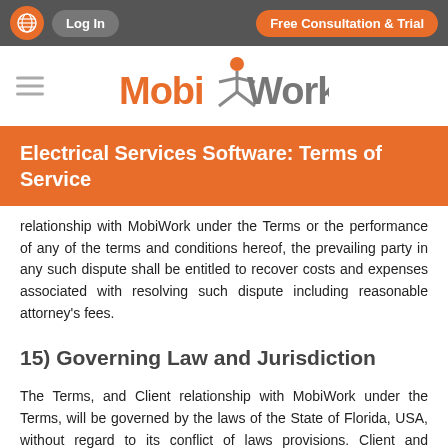Log In | Free Consultation & Trial
[Figure (logo): MobiWork logo with orange person figure and gray/orange text]
Electrical Services Software: Terms of Service
relationship with MobiWork under the Terms or the performance of any of the terms and conditions hereof, the prevailing party in any such dispute shall be entitled to recover costs and expenses associated with resolving such dispute including reasonable attorney's fees.
15) Governing Law and Jurisdiction
The Terms, and Client relationship with MobiWork under the Terms, will be governed by the laws of the State of Florida, USA, without regard to its conflict of laws provisions. Client and MobiWork agree to submit to the exclusive jurisdiction of the